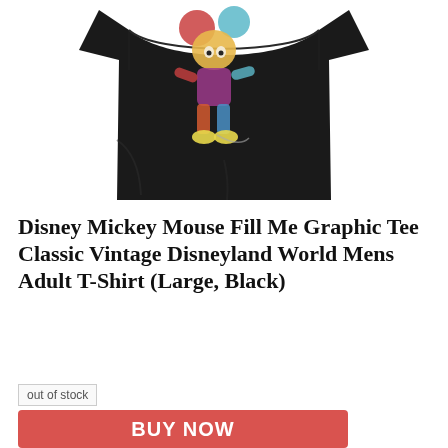[Figure (photo): A black t-shirt with a colorful Mickey Mouse graphic made of collage/patchwork fill. The shirt is displayed against a white background.]
Disney Mickey Mouse Fill Me Graphic Tee Classic Vintage Disneyland World Mens Adult T-Shirt (Large, Black)
out of stock
BUY NOW